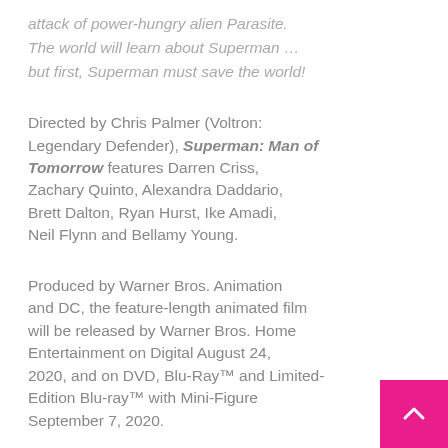attack of power-hungry alien Parasite. The world will learn about Superman … but first, Superman must save the world!
Directed by Chris Palmer (Voltron: Legendary Defender), Superman: Man of Tomorrow features Darren Criss, Zachary Quinto, Alexandra Daddario, Brett Dalton, Ryan Hurst, Ike Amadi, Neil Flynn and Bellamy Young.
Produced by Warner Bros. Animation and DC, the feature-length animated film will be released by Warner Bros. Home Entertainment on Digital August 24, 2020, and on DVD, Blu-Ray™ and Limited-Edition Blu-ray™ with Mini-Figure September 7, 2020.